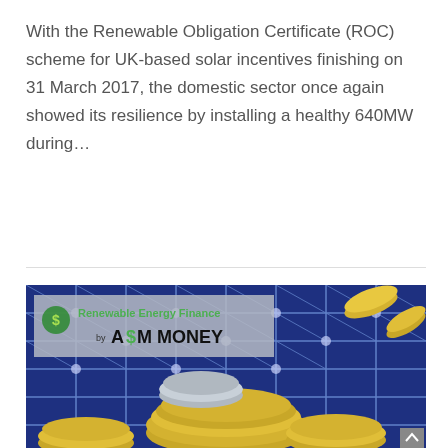With the Renewable Obligation Certificate (ROC) scheme for UK-based solar incentives finishing on 31 March 2017, the domestic sector once again showed its resilience by installing a healthy 640MW during…
Continue Reading >
[Figure (photo): Promotional image for Renewable Energy Finance by ASM MONEY, showing solar panels in the background with a pile of gold and silver coins in the foreground. A logo overlay reads 'Renewable Energy Finance by ASM MONEY' in green and black text on a grey semi-transparent background.]